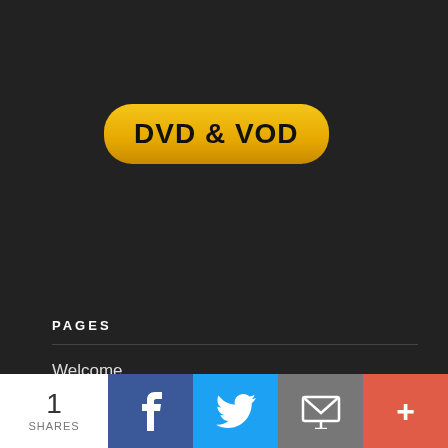DVD & VOD
Search ...
PAGES
Welcome
Buy the DVD!
Meet the Director, Producer and Team
1 SHARES